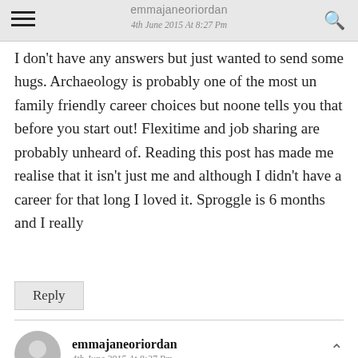emmajaneoriordan — 4th June 2015 At 8:27 Pm
I don't have any answers but just wanted to send some hugs. Archaeology is probably one of the most un family friendly career choices but noone tells you that before you start out! Flexitime and job sharing are probably unheard of. Reading this post has made me realise that it isn't just me and although I didn't have a career for that long I loved it. Sproggle is 6 months and I really
Reply
emmajaneoriordan
4th June 2015 At 8:27 Pm